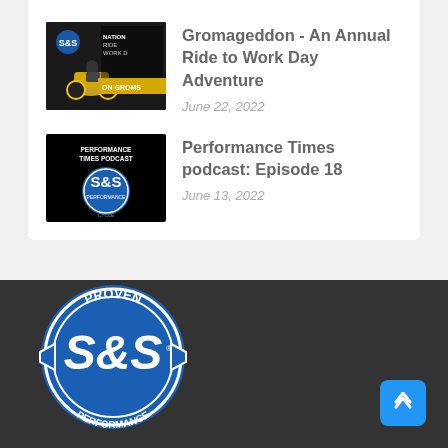[Figure (photo): Thumbnail image for Gromageddon article showing motorcycle riders with text 'NATIONAL RIDE TO WORK DAY ON GROMS']
Gromageddon - An Annual Ride to Work Day Adventure
June 22, 2022
[Figure (photo): Performance Times Podcast thumbnail with S&S logo on black background]
Performance Times podcast: Episode 18
June 13, 2022
[Figure (logo): S&S Performance logo - white circular badge with 'PROVEN' at top, 'S&S' in center, 'PERFORMANCE' at bottom, on dark footer]